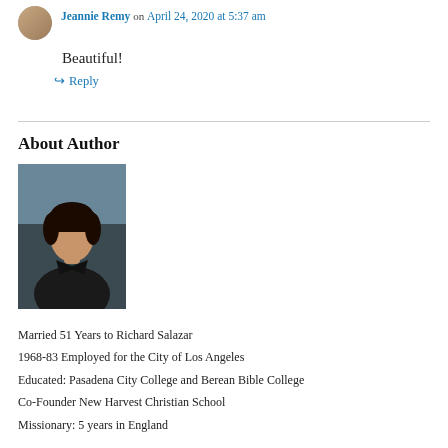Jeannie Remy on April 24, 2020 at 5:37 am
Beautiful!
↳ Reply
About Author
[Figure (photo): Portrait photo of a woman with short dark hair wearing a dark blazer, against a blue-gray background.]
Married 51 Years to Richard Salazar
1968-83 Employed for the City of Los Angeles
Educated: Pasadena City College and Berean Bible College
Co-Founder New Harvest Christian School
Missionary: 5 years in England